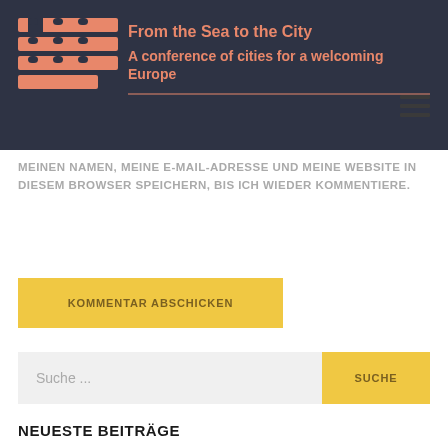[Figure (logo): Salmon-colored wavy horizontal stripes logo for 'From the Sea to the City' conference]
From the Sea to the City
A conference of cities for a welcoming Europe
MEINEN NAMEN, MEINE E-MAIL-ADRESSE UND MEINE WEBSITE IN DIESEM BROWSER SPEICHERN, BIS ICH WIEDER KOMMENTIERE.
KOMMENTAR ABSCHICKEN
Suche ...
SUCHE
NEUESTE BEITRÄGE